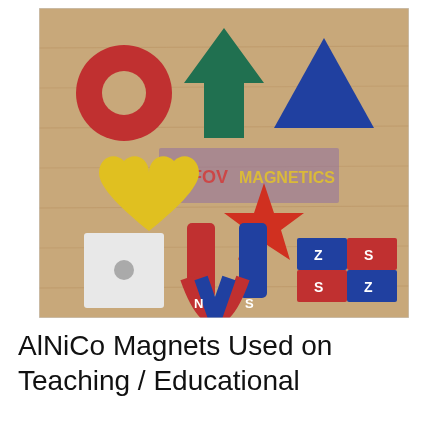[Figure (photo): Photo of various AlNiCo magnets in different shapes arranged on a wooden surface: a red ring magnet, a green arrow magnet, a blue triangle magnet, a yellow heart magnet, a red star magnet, a white square magnet with hole, a horseshoe magnet (red and blue halves labeled N and S), and a rectangular bar magnet with four colored sections labeled N, S, Z, S. Watermark text reads 'JOFOV MAGNETICS'.]
AlNiCo Magnets Used on Teaching / Educational